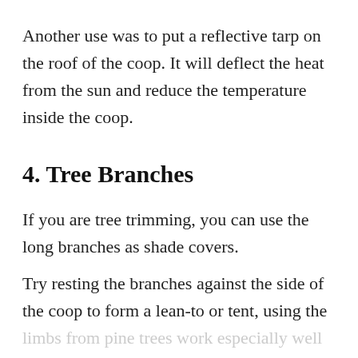Another use was to put a reflective tarp on the roof of the coop. It will deflect the heat from the sun and reduce the temperature inside the coop.
4. Tree Branches
If you are tree trimming, you can use the long branches as shade covers.
Try resting the branches against the side of the coop to form a lean-to or tent, using the limbs from pine trees work especially well